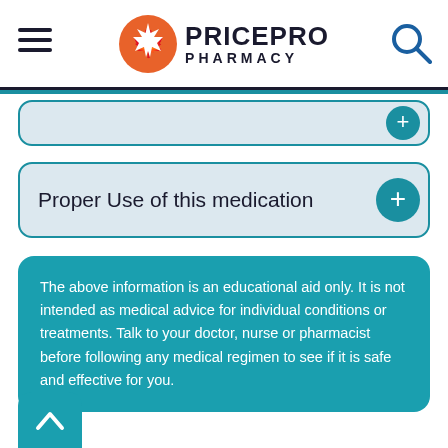[Figure (logo): PricePro Pharmacy logo with orange maple leaf circle and bold black text]
Proper Use of this medication
The above information is an educational aid only. It is not intended as medical advice for individual conditions or treatments. Talk to your doctor, nurse or pharmacist before following any medical regimen to see if it is safe and effective for you.